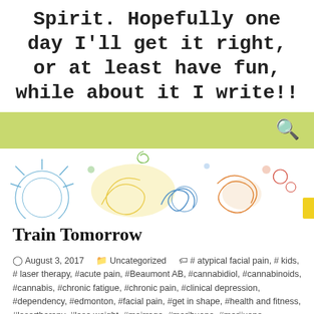Spirit. Hopefully one day I'll get it right, or at least have fun, while about it I write!!
[Figure (screenshot): Olive/yellow-green navigation bar with a search icon on the right]
[Figure (illustration): Colorful hand-drawn doodle illustration with abstract shapes, spirals, suns, and swirls in blue, yellow, orange, and green]
Train Tomorrow
August 3, 2017   Uncategorized   # atypical facial pain, # kids, # laser therapy, #acute pain, #Beaumont AB, #cannabidiol, #cannabinoids, #cannabis, #chronic fatigue, #chronic pain, #clinical depression, #dependency, #edmonton, #facial pain, #get in shape, #health and fitness, #lasertherapy, #lose weight, #mairrage, #marihuana, #marijuana, #medication, #medicinal marijuana,